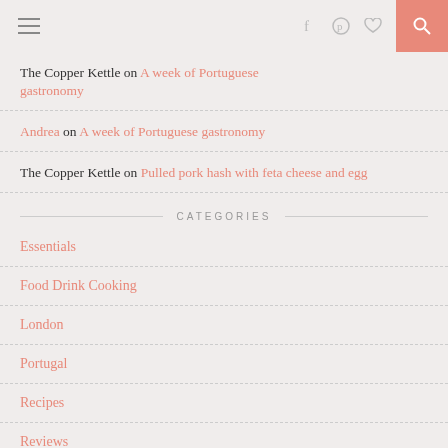Navigation bar with hamburger menu, social icons (f, pinterest, heart), and search button
The Copper Kettle on A week of Portuguese gastronomy
Andrea on A week of Portuguese gastronomy
The Copper Kettle on Pulled pork hash with feta cheese and egg
CATEGORIES
Essentials
Food Drink Cooking
London
Portugal
Recipes
Reviews
UK